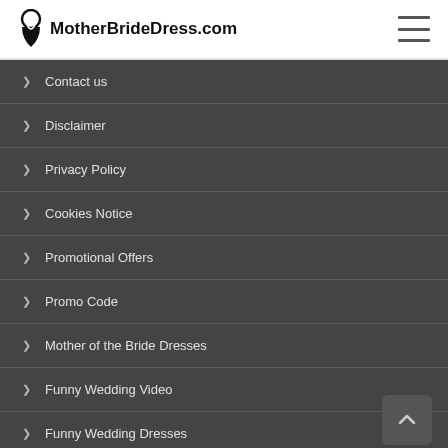MotherBrideDress.com
Contact us
Disclaimer
Privacy Policy
Cookies Notice
Promotional Offers
Promo Code
Mother of the Bride Dresses
Funny Wedding Video
Funny Wedding Dresses